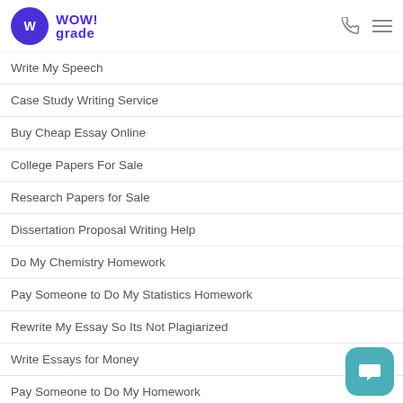WOW! grade
Write My Speech
Case Study Writing Service
Buy Cheap Essay Online
College Papers For Sale
Research Papers for Sale
Dissertation Proposal Writing Help
Do My Chemistry Homework
Pay Someone to Do My Statistics Homework
Rewrite My Essay So Its Not Plagiarized
Write Essays for Money
Pay Someone to Do My Homework
Essays for Sale